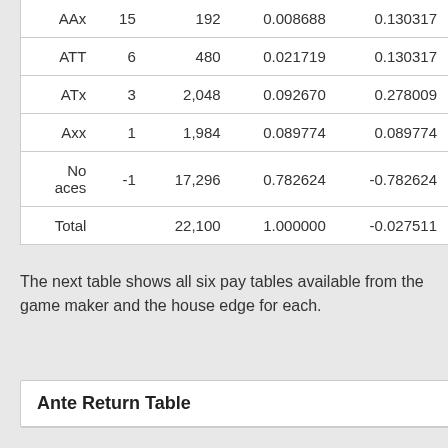|  |  |  |  |  |
| --- | --- | --- | --- | --- |
| AAx | 15 | 192 | 0.008688 | 0.130317 |
| ATT | 6 | 480 | 0.021719 | 0.130317 |
| ATx | 3 | 2,048 | 0.092670 | 0.278009 |
| Axx | 1 | 1,984 | 0.089774 | 0.089774 |
| No aces | -1 | 17,296 | 0.782624 | -0.782624 |
| Total |  | 22,100 | 1.000000 | -0.027511 |
The next table shows all six pay tables available from the game maker and the house edge for each.
Ante Return Table